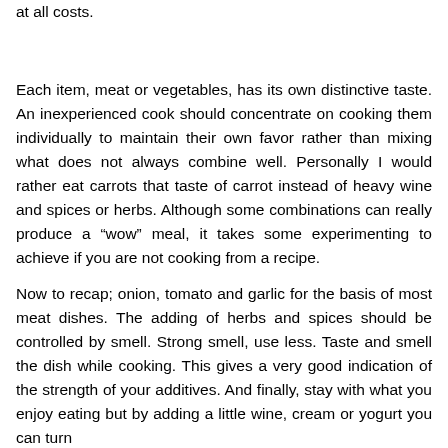at all costs.
Each item, meat or vegetables, has its own distinctive taste. An inexperienced cook should concentrate on cooking them individually to maintain their own favor rather than mixing what does not always combine well. Personally I would rather eat carrots that taste of carrot instead of heavy wine and spices or herbs. Although some combinations can really produce a “wow” meal, it takes some experimenting to achieve if you are not cooking from a recipe.
Now to recap; onion, tomato and garlic for the basis of most meat dishes. The adding of herbs and spices should be controlled by smell. Strong smell, use less. Taste and smell the dish while cooking. This gives a very good indication of the strength of your additives. And finally, stay with what you enjoy eating but by adding a little wine, cream or yogurt you can turn